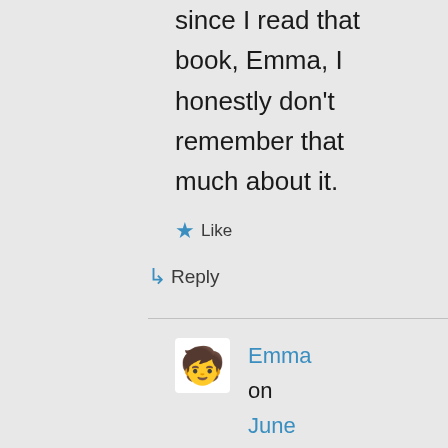since I read that book, Emma, I honestly don't remember that much about it.
★ Like
↳ Reply
Emma on June 5, 2016